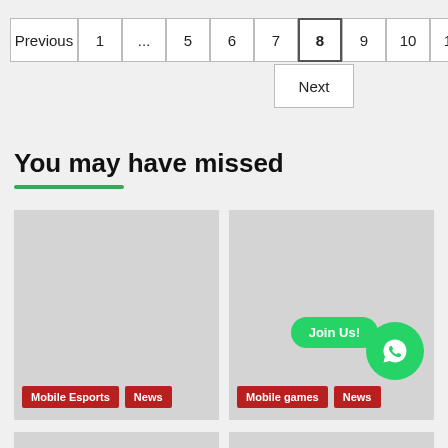Pagination: Previous, 1, ..., 5, 6, 7, 8 (active), 9, 10, 11, ..., 21, Next
You may have missed
[Figure (photo): Placeholder image card with Mobile Esports and News badge labels]
[Figure (photo): Placeholder image card with Mobile games and News badge labels, with Join Us WhatsApp overlay]
[Figure (photo): Bottom strip partial card placeholder]